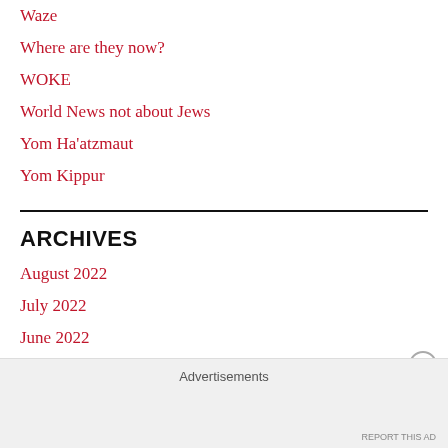Waze
Where are they now?
WOKE
World News not about Jews
Yom Ha'atzmaut
Yom Kippur
ARCHIVES
August 2022
July 2022
June 2022
May 2022
April 2022
Advertisements